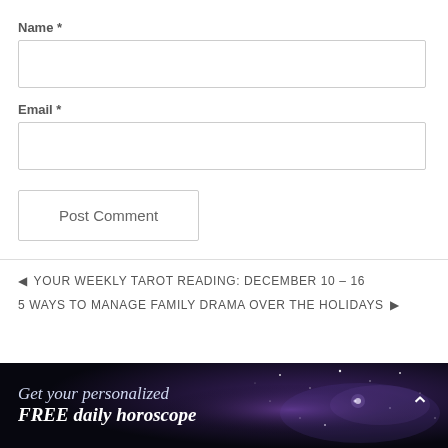Name *
Email *
Post Comment
◄ YOUR WEEKLY TAROT READING: DECEMBER 10 – 16
5 WAYS TO MANAGE FAMILY DRAMA OVER THE HOLIDAYS ►
[Figure (illustration): Night sky / galaxy banner with text: Get your personalized FREE daily horoscope, and an upward chevron arrow on the right.]